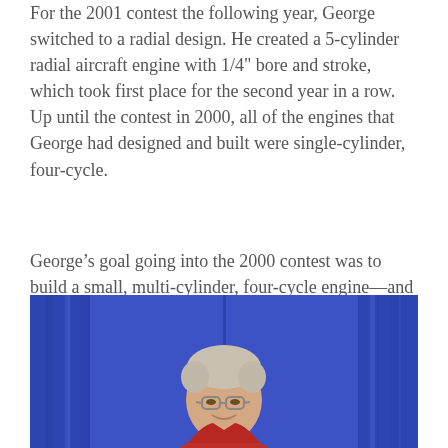For the 2001 contest the following year, George switched to a radial design. He created a 5-cylinder radial aircraft engine with 1/4" bore and stroke, which took first place for the second year in a row. Up until the contest in 2000, all of the engines that George had designed and built were single-cylinder, four-cycle.
George's goal going into the 2000 contest was to build a small, multi-cylinder, four-cycle engine—and one that could run reliably. The following year he built the 5-cylinder radial engine, expanding his range even further.
[Figure (photo): A man with glasses and gray hair wearing a red shirt, photographed against a blue background/curtain, looking slightly downward.]